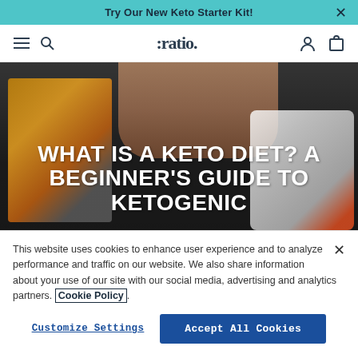Try Our New Keto Starter Kit!
:ratio navigation bar with menu, search, account, and cart icons
[Figure (photo): Hero image showing hands holding a keto nutrition bar with keto yogurt products visible in background, overlaid with article title text]
WHAT IS A KETO DIET? A BEGINNER'S GUIDE TO KETOGENIC
This website uses cookies to enhance user experience and to analyze performance and traffic on our website. We also share information about your use of our site with our social media, advertising and analytics partners. Cookie Policy.
Customize Settings
Accept All Cookies